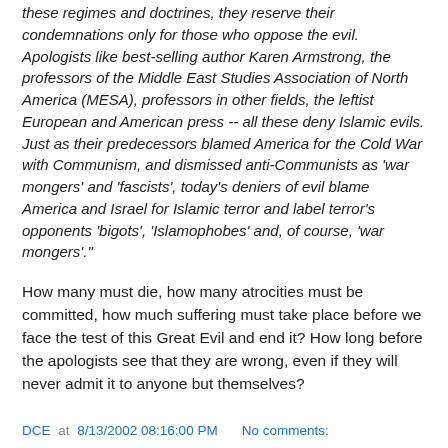these regimes and doctrines, they reserve their condemnations only for those who oppose the evil. Apologists like best-selling author Karen Armstrong, the professors of the Middle East Studies Association of North America (MESA), professors in other fields, the leftist European and American press -- all these deny Islamic evils. Just as their predecessors blamed America for the Cold War with Communism, and dismissed anti-Communists as 'war mongers' and 'fascists', today's deniers of evil blame America and Israel for Islamic terror and label terror's opponents 'bigots', 'Islamophobes' and, of course, 'war mongers'."
How many must die, how many atrocities must be committed, how much suffering must take place before we face the test of this Great Evil and end it? How long before the apologists see that they are wrong, even if they will never admit it to anyone but themselves?
DCE at 8/13/2002 08:16:00 PM    No comments: